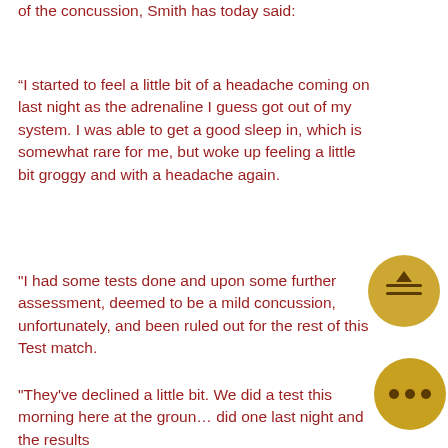of the concussion, Smith has today said:
“I started to feel a little bit of a headache coming on last night as the adrenaline I guess got out of my system. I was able to get a good sleep in, which is somewhat rare for me, but woke up feeling a little bit groggy and with a headache again.
"I had some tests done and upon some further assessment, deemed to be a mild concussion, unfortunately, and been ruled out for the rest of this Test match.
"They've declined a little bit. We did a test this morning here at the ground, did one last night and the results